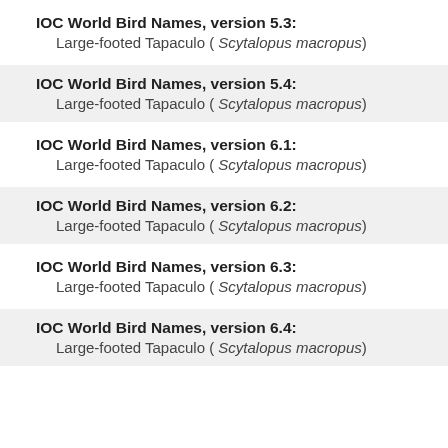IOC World Bird Names, version 5.3: Large-footed Tapaculo ( Scytalopus macropus)
IOC World Bird Names, version 5.4: Large-footed Tapaculo ( Scytalopus macropus)
IOC World Bird Names, version 6.1: Large-footed Tapaculo ( Scytalopus macropus)
IOC World Bird Names, version 6.2: Large-footed Tapaculo ( Scytalopus macropus)
IOC World Bird Names, version 6.3: Large-footed Tapaculo ( Scytalopus macropus)
IOC World Bird Names, version 6.4: Large-footed Tapaculo ( Scytalopus macropus)